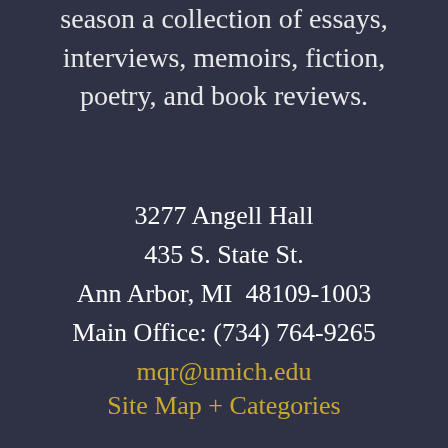season a collection of essays, interviews, memoirs, fiction, poetry, and book reviews.
3277 Angell Hall
435 S. State St.
Ann Arbor, MI  48109-1003
Main Office: (734) 764-9265
mqr@umich.edu
Site Map + Categories